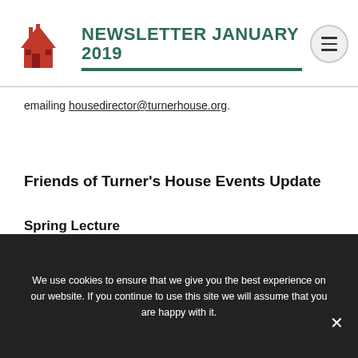NEWSLETTER JANUARY 2019
emailing housedirector@turnerhouse.org.
Friends of Turner's House Events Update
Spring Lecture
Wednesday 27th March 2019 at 8pm (drinks from 7.30pm) in the Hyde Room, York House, Richmond Road, TW1 3AA
We use cookies to ensure that we give you the best experience on our website. If you continue to use this site we will assume that you are happy with it.